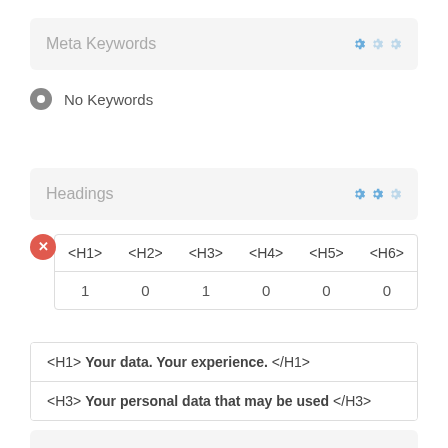Meta Keywords
No Keywords
Headings
| <H1> | <H2> | <H3> | <H4> | <H5> | <H6> |
| --- | --- | --- | --- | --- | --- |
| 1 | 0 | 1 | 0 | 0 | 0 |
<H1> Your data. Your experience. </H1>
<H3> Your personal data that may be used </H3>